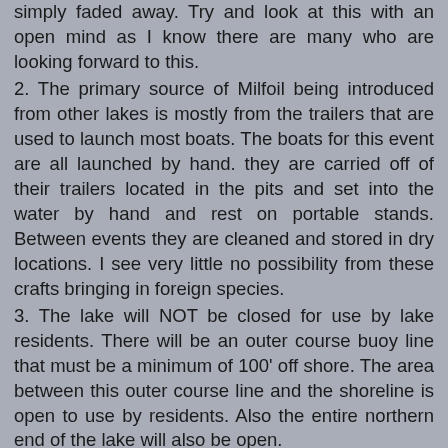simply faded away. Try and look at this with an open mind as I know there are many who are looking forward to this.
2. The primary source of Milfoil being introduced from other lakes is mostly from the trailers that are used to launch most boats. The boats for this event are all launched by hand. they are carried off of their trailers located in the pits and set into the water by hand and rest on portable stands. Between events they are cleaned and stored in dry locations. I see very little no possibility from these crafts bringing in foreign species.
3. The lake will NOT be closed for use by lake residents. There will be an outer course buoy line that must be a minimum of 100' off shore. The area between this outer course line and the shoreline is open to use by residents. Also the entire northern end of the lake will also be open.
4. I seriously doubt that our wildlife will suffer from two days of boat racing. In if this were true than I am sure boat racing would be an extinct sport by now. I'm of the opinion that having homes along 99% of what was once a vegetated shoreline is probably a much more serious deterrent to the welfare of any wildlife in the area.
5. For those of you concerned about the wake I urge you recall those many winter storms we've all experienced